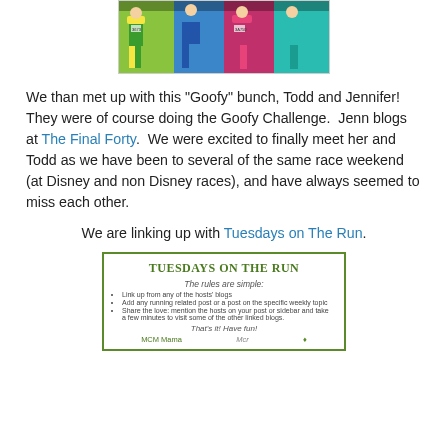[Figure (photo): Group photo of runners in colorful running outfits at a race event]
We than met up with this "Goofy" bunch, Todd and Jennifer! They were of course doing the Goofy Challenge. Jenn blogs at The Final Forty. We were excited to finally meet her and Todd as we have been to several of the same race weekend (at Disney and non Disney races), and have always seemed to miss each other.
We are linking up with Tuesdays on The Run.
[Figure (infographic): Tuesdays on the Run banner/linkup graphic with rules: Link up from any of the hosts blogs, Add any running related post or a post on the specific weekly topic, Share the love: mention the hosts on your post or sidebar and take a few minutes to visit some of the other linked blogs. That's it! Have fun! MCM Mama and others signing.]